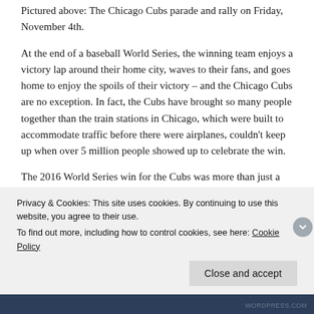Pictured above: The Chicago Cubs parade and rally on Friday, November 4th.
At the end of a baseball World Series, the winning team enjoys a victory lap around their home city, waves to their fans, and goes home to enjoy the spoils of their victory – and the Chicago Cubs are no exception. In fact, the Cubs have brought so many people together than the train stations in Chicago, which were built to accommodate traffic before there were airplanes, couldn't keep up when over 5 million people showed up to celebrate the win.
The 2016 World Series win for the Cubs was more than just a win – it was the demolition of a 108-year loss. The Cubs last won the World Series in 1908, and hadn't even been to the Series since 1945. To say that the victory in 2016 was a big deal would be an understatement: people had waited their entire lives to see the
Privacy & Cookies: This site uses cookies. By continuing to use this website, you agree to their use.
To find out more, including how to control cookies, see here: Cookie Policy
Close and accept
WORDPRESS.COM